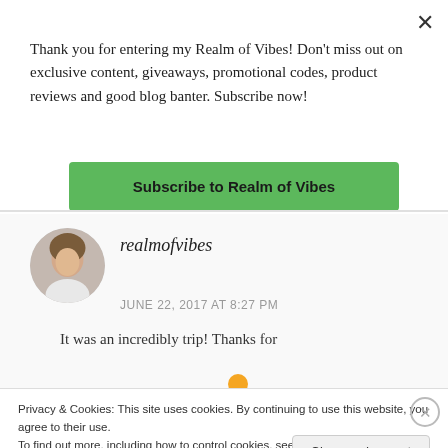Thank you for entering my Realm of Vibes! Don't miss out on exclusive content, giveaways, promotional codes, product reviews and good blog banter. Subscribe now!
Subscribe to Realm of Vibes
[Figure (photo): Circular avatar photo of a woman in a white t-shirt]
realmofvibes
JUNE 22, 2017 AT 8:27 PM
It was an incredibly trip! Thanks for
Privacy & Cookies: This site uses cookies. By continuing to use this website, you agree to their use.
To find out more, including how to control cookies, see here: Cookie Policy
Close and accept